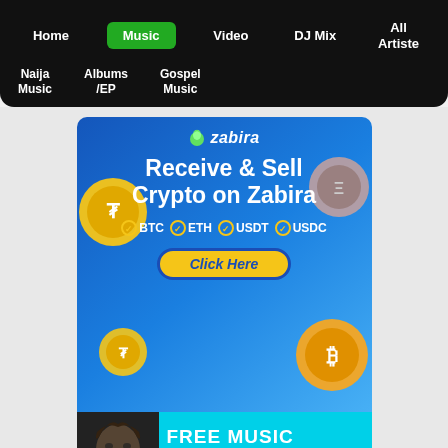Home | Music | Video | DJ Mix | All Artiste
Naija Music | Albums /EP | Gospel Music
[Figure (infographic): Zabira crypto ad: Receive & Sell Crypto on Zabira. BTC ETH USDT USDC. Click Here button. Blue background with gold coin graphics.]
[Figure (infographic): Boomplay free music banner with Burna Boy thumbnail. FREE MUSIC - Get it on Boomplay.]